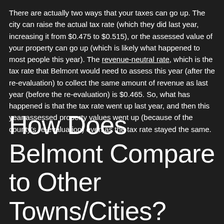There are actually two ways that your taxes can go up. The city can raise the actual tax rate (which they did last year, increasing it from $0.475 to $0.515), or the assessed value of your property can go up (which is likely what happened to most people this year). The revenue-neutral rate, which is the tax rate that Belmont would need to assess this year (after the re-evaluation) to collect the same amount of revenue as last year (before the re-evaluation) is $0.465. So, what has happened is that the tax rate went up last year, and then this year assessed property values went up (because of the county's re-evaluation) even as the tax rate stayed the same.
How Does Belmont Compare to Other Towns/Cities?